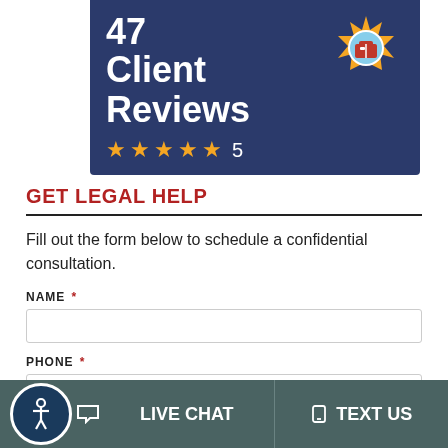[Figure (infographic): Blue banner showing '47 Client Reviews' with 5 gold stars and rating of 5, with a badge icon (award seal with mailbox graphic) in the top right corner]
GET LEGAL HELP
Fill out the form below to schedule a confidential consultation.
NAME *
PHONE *
LIVE CHAT
TEXT US